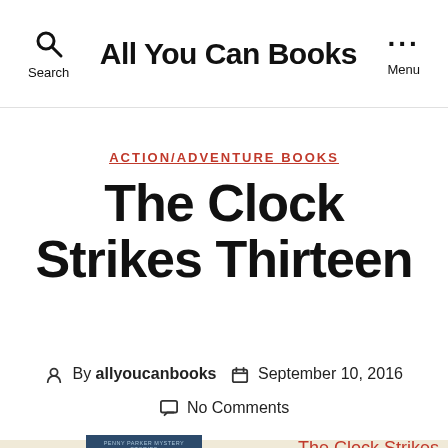All You Can Books
ACTION/ADVENTURE BOOKS
The Clock Strikes Thirteen
By allyoucanbooks  September 10, 2016  No Comments
[Figure (photo): Book cover of The Clock Strikes Thirteen, Penny Parker Mystery Stories, dark blue cover with italic title text]
The Clock Strikes Thirteen